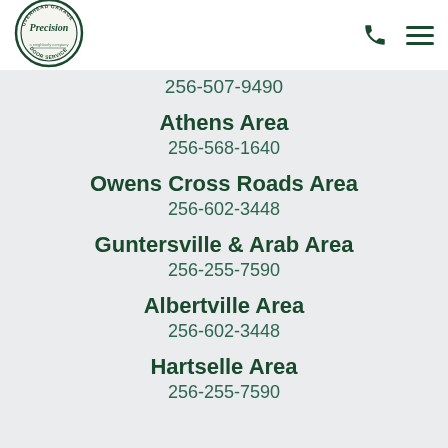[Figure (logo): Precision Door Service - Overhead Garage Door Service logo, circular badge with 'Precision' text, 'a Neighborly company' tagline below]
256-507-9490
Athens Area
256-568-1640
Owens Cross Roads Area
256-602-3448
Guntersville & Arab Area
256-255-7590
Albertville Area
256-602-3448
Hartselle Area
256-255-7590